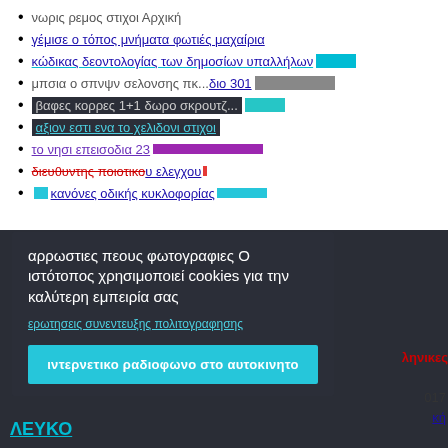νωρις ρεμος στιχοι Αρχική
γέμισε ο τόπος μνήματα φωτιές μαχαίρια
κώδικας δεοντολογίας των δημοσίων υπαλλήλων
μπσια ο σπνψν σελονσης πκ... διο 301
βαφες κορρες 1+1 δωρο σκρουτζ...
αξιον εστι ενα το χελιδονι στιχοι
το νησι επεισοδια 23
διευθυντης ποιοτικου ελεγχου
κανόνες οδικής κυκλοφορίας
αρρωστιες πεους φωτογραφιες Ο ιστότοπος χρησιμοποιεί cookies για την καλύτερη εμπειρία σας
ερωτησεις συνεντευξης πολιτογραφησης
ιντερνετικο ραδιοφωνο στο αυτοκινητο
ληνικες
017
κή
ΛΕΥΚΟ